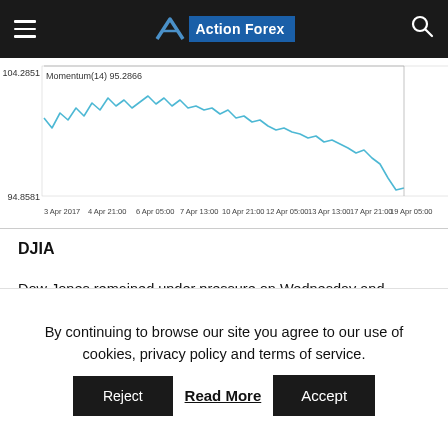Action Forex
[Figure (continuous-plot): Momentum(14) line chart from 3 Apr 2017 to 19 Apr 05:00. Y-axis range approximately 94.8581 to 104.2851. The line starts around 98, fluctuates with peaks around 103-104 in early-mid April, then trends downward sharply near 19 Apr dropping toward 94.8581.]
DJIA
Dow Jones remained under pressure on Wednesday and extended below daily Ichimoku cloud base which offered solid support during past few sessions. Daily close below the cloud will be seen as bearish signal for extension towards next significant supports at 20266 (Fibonacci 61.8% retracement of 19713/21160 upleg) and 20197 (rising 100SMA). Daily technicals are establishing in firm bearish mode and maintain
By continuing to browse our site you agree to our use of cookies, privacy policy and terms of service.